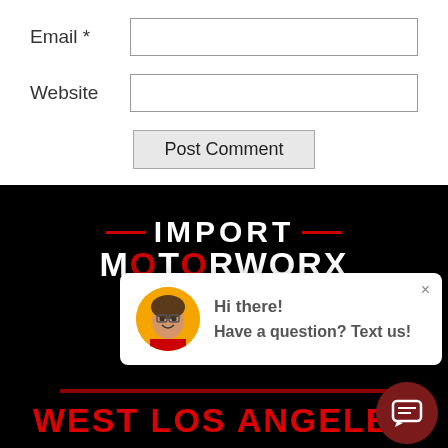Email *
Website
Post Comment
[Figure (screenshot): Import Motorworx website footer with black background showing company logo with 'IMPORT' in white text with red dash accents, 'MOTORWORX' in large white letters, a chat popup overlay with avatar photo of smiling woman, 'Hi there! Have a question? Text us!' message, and 'WEST LOS ANGELES' in large red text at the bottom]
Hi there! Have a question? Text us!